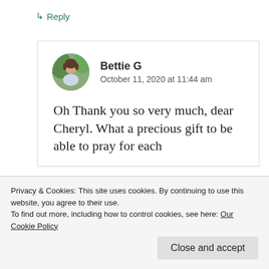↳ Reply
Bettie G
October 11, 2020 at 11:44 am
Oh Thank you so very much, dear Cheryl. What a precious gift to be able to pray for each
Privacy & Cookies: This site uses cookies. By continuing to use this website, you agree to their use.
To find out more, including how to control cookies, see here: Our Cookie Policy
Close and accept